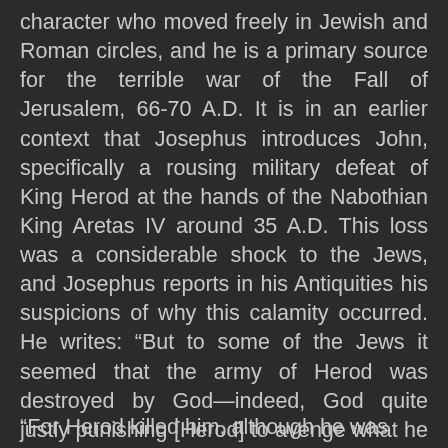character who moved freely in Jewish and Roman circles, and he is a primary source for the terrible war of the Fall of Jerusalem, 66-70 A.D. It is in an earlier context that Josephus introduces John, specifically a rousing military defeat of King Herod at the hands of the Nabothian King Aretas IV around 35 A.D. This loss was a considerable shock to the Jews, and Josephus reports in his Antiquities his suspicions of why this calamity occurred. He writes: “But to some of the Jews it seemed that the army of Herod was destroyed by God—indeed, God quite justly punishing [Herod] to avenge what he had done to John, who was surnamed the Baptist.
“For Herod killed him, although he was